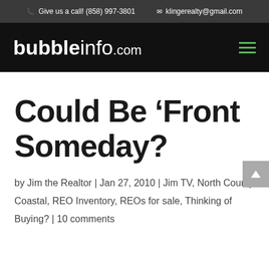Give us a call! (858) 997-3801   klingerealty@gmail.com
bubbleinfo.com
Could Be ‘Front Someday?
by Jim the Realtor | Jan 27, 2010 | Jim TV, North County Coastal, REO Inventory, REOs for sale, Thinking of Buying? | 10 comments